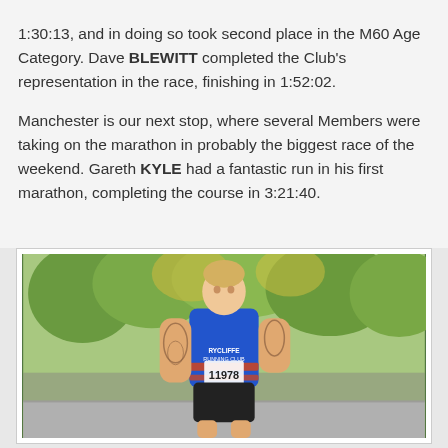1:30:13, and in doing so took second place in the M60 Age Category. Dave BLEWITT completed the Club's representation in the race, finishing in 1:52:02.

Manchester is our next stop, where several Members were taking on the marathon in probably the biggest race of the weekend. Gareth KYLE had a fantastic run in his first marathon, completing the course in 3:21:40.
[Figure (photo): A male runner wearing a blue and orange running vest with race number 11978 and the text 'RYCLIFFE RUNNING CLUB' on the vest, running in a race. He has tattoos on both arms and is pictured mid-stride. The background shows trees with autumn foliage and a crowd of spectators.]